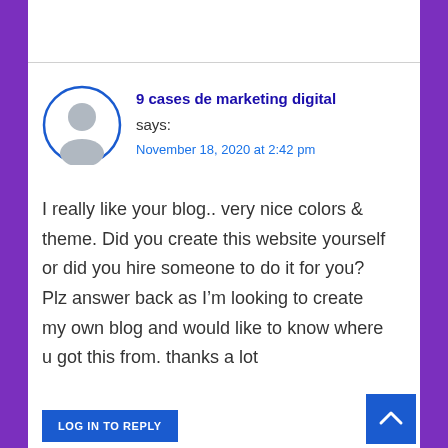9 cases de marketing digital
says:
November 18, 2020 at 2:42 pm
I really like your blog.. very nice colors & theme. Did you create this website yourself or did you hire someone to do it for you? Plz answer back as I'm looking to create my own blog and would like to know where u got this from. thanks a lot
LOG IN TO REPLY